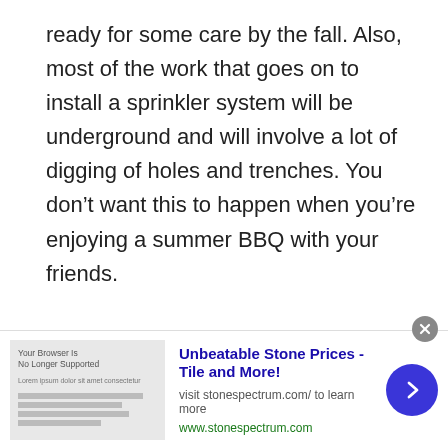ready for some care by the fall. Also, most of the work that goes on to install a sprinkler system will be underground and will involve a lot of digging of holes and trenches. You don't want this to happen when you're enjoying a summer BBQ with your friends.
Fall is an ideal time as your yard and lawn aren't at their best, the temperatures are cooler, and there will be fallen leaves everywhere. This gives
[Figure (infographic): Advertisement banner for stonespectrum.com showing 'Unbeatable Stone Prices -Tile and More!' with an image placeholder, subtitle 'visit stonespectrum.com/ to learn more', URL 'www.stonespectrum.com', a blue circular arrow button, and a close (x) button.]